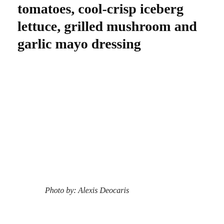tomatoes, cool-crisp iceberg lettuce, grilled mushroom and garlic mayo dressing
Photo by: Alexis Deocaris